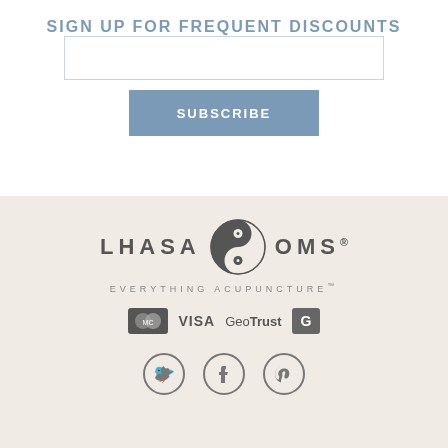SIGN UP FOR FREQUENT DISCOUNTS
[Figure (screenshot): Email input text field, empty, with light blue border]
[Figure (screenshot): Subscribe button in steel blue with white uppercase text SUBSCRIBE]
[Figure (logo): Lhasa OMS logo with yin-yang symbol between the words LHASA and OMS, with tagline EVERYTHING ACUPUNCTURE and payment icons (MasterCard, Visa, GeoTrust) and social icons (Twitter, Facebook, Pinterest)]